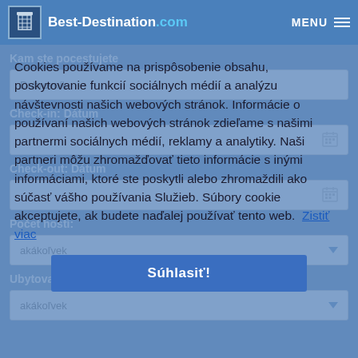Best-Destination.com  MENU
Kam ste pocestujete
Dubrovník
Check-in: Dátum
Check-out: Dátum
Počet hostí:
akákoľvek
Ubytovanie typ
akákoľvek
Cookies používame na prispôsobenie obsahu, poskytovanie funkcií sociálnych médií a analýzu návštevnosti našich webových stránok. Informácie o používaní našich webových stránok zdieľame s našimi partnermi sociálnych médií, reklamy a analytiky. Naši partneri môžu zhromažďovať tieto informácie s inými informáciami, ktoré ste poskytli alebo zhromaždili ako súčasť vášho používania Služieb. Súbory cookie akceptujete, ak budete naďalej používať tento web. Zistiť viac
Súhlasiť!